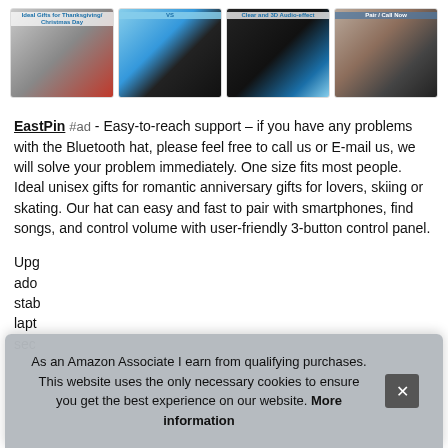[Figure (photo): Four product images of Bluetooth hats arranged in a row, showing holiday gift context, product comparison, audio features, and phone connectivity]
EastPin #ad - Easy-to-reach support – if you have any problems with the Bluetooth hat, please feel free to call us or E-mail us, we will solve your problem immediately. One size fits most people. Ideal unisex gifts for romantic anniversary gifts for lovers, skiing or skating. Our hat can easy and fast to pair with smartphones, find songs, and control volume with user-friendly 3-button control panel.
Upg ado stab lapt sec
As an Amazon Associate I earn from qualifying purchases. This website uses the only necessary cookies to ensure you get the best experience on our website. More information